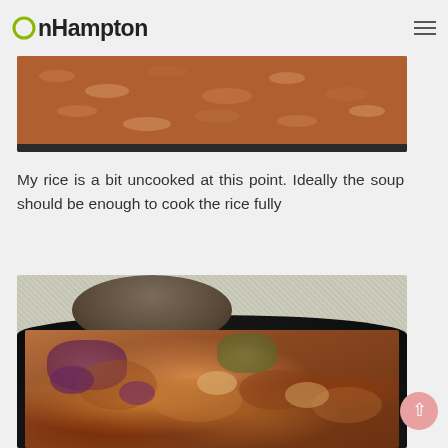onHampton
[Figure (photo): Close-up photo of rice cooking in a dark pan, showing partially cooked brown/fried rice grains from above]
My rice is a bit uncooked at this point. Ideally the soup should be enough to cook the rice fully
[Figure (photo): Photo of a dark cast-iron skillet with cooked vegetables including purple onions and other mixed vegetables, with a lid visible in the background on a stone/gravel surface]